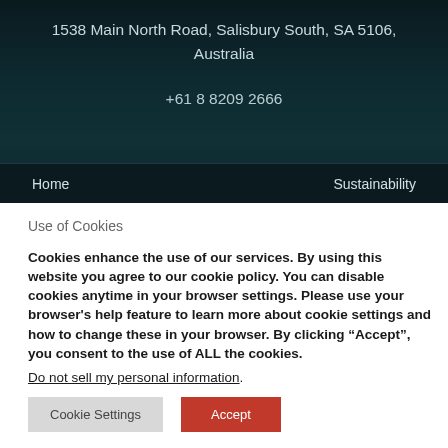1538 Main North Road, Salisbury South, SA 5106, Australia
+61 8 8209 2666
Home | Sustainability
Use of Cookies
Cookies enhance the use of our services. By using this website you agree to our cookie policy. You can disable cookies anytime in your browser settings. Please use your browser's help feature to learn more about cookie settings and how to change these in your browser. By clicking “Accept”, you consent to the use of ALL the cookies.
Do not sell my personal information.